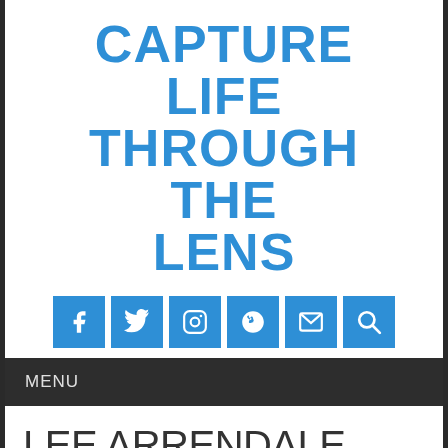CAPTURE LIFE THROUGH THE LENS
[Figure (infographic): Row of six social media icon buttons (Facebook, Twitter, Instagram, Yelp, Email, Search) in blue squares]
MENU
LEE ARRENDALE CORRECTIONAL FACILITY
Posted on April 19, 2015 by Jonathan Phillips